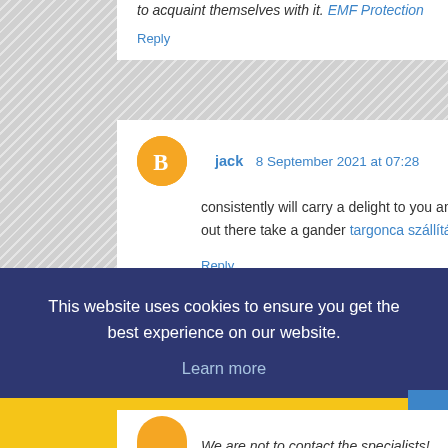to acquaint themselves with it. EMF Protection
Reply
jack 8 September 2021 at 07:28
consistently will carry a delight to you and your kid. For more data and to see instances of what is out there take a gander targonca szállítás Debrecen Europa-Road Kft.
Reply
This website uses cookies to ensure you get the best experience on our website.
Learn more
Got it!
We are not to contact the specialists!